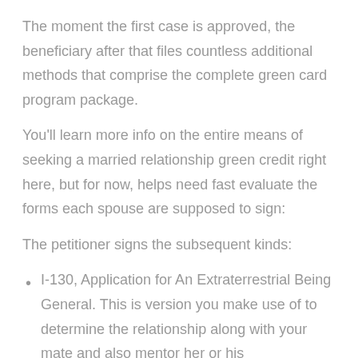The moment the first case is approved, the beneficiary after that files countless additional methods that comprise the complete green card program package.
You'll learn more info on the entire means of seeking a married relationship green credit right here, but for now, helps need fast evaluate the forms each spouse are supposed to sign:
The petitioner signs the subsequent kinds:
I-130, Application for An Extraterrestrial Being General. This is version you make use of to determine the relationship along with your mate and also mentor her or his environmentally friendly card tool.
I-864, Affidavit of Service. This particular type happens to be a binding, lawfully enforceable hope to compliment your spouse financially across the nation. The recipient...